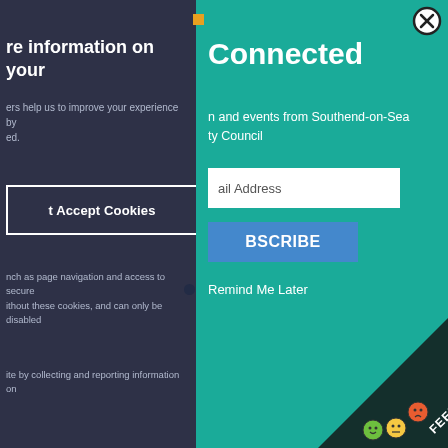[Figure (screenshot): Screenshot of a government website showing two overlapping UI panels: a dark navy cookie consent panel on the left, and a teal 'Stay Connected' newsletter subscription modal on the right. The left panel has text about cookies and an 'Accept Cookies' button. The teal panel has a title 'Connected', subtitle about events from Southend-on-Sea City Council, an email address input field, a blue 'SUBSCRIBE' button, and a 'Remind Me Later' link. A feedback widget with emoji faces is visible in the bottom-right corner.]